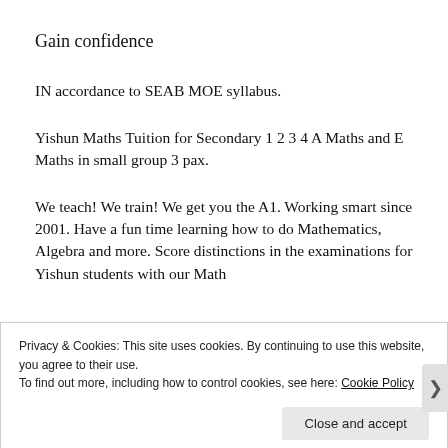Gain confidence
IN accordance to SEAB MOE syllabus.
Yishun Maths Tuition for Secondary 1 2 3 4 A Maths and E Maths in small group 3 pax.
We teach! We train! We get you the A1. Working smart since 2001. Have a fun time learning how to do Mathematics, Algebra and more. Score distinctions in the examinations for Yishun students with our Math
Privacy & Cookies: This site uses cookies. By continuing to use this website, you agree to their use.
To find out more, including how to control cookies, see here: Cookie Policy